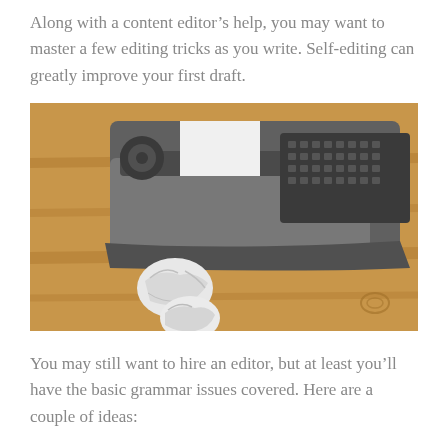Along with a content editor's help, you may want to master a few editing tricks as you write. Self-editing can greatly improve your first draft.
[Figure (photo): A vintage typewriter on a wooden table with crumpled pieces of white paper scattered in front of it.]
You may still want to hire an editor, but at least you'll have the basic grammar issues covered. Here are a couple of ideas: